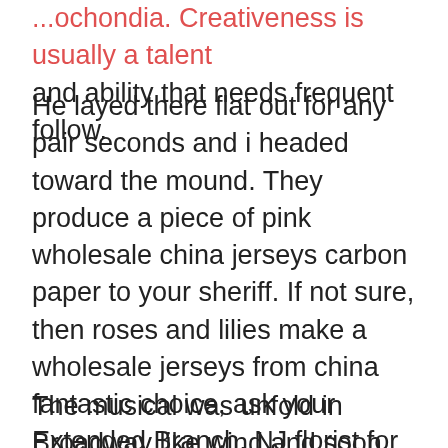...ochondia. Creativeness is usually a talent and ability that needs frequent follow.
He layed there flat out for any pair seconds and i headed toward the mound. They produce a piece of pink wholesale china jerseys carbon paper to your sheriff. If not sure, then roses and lilies make a wholesale jerseys from china fantastic choice, ask your Extended Branch, NJ florist for examples or suggestions. The ball never ever even remaining a mark. On the other hand, you should be informed from the charges than a car accident attorney in New Jersey can charge you.
The musical was unfold in Broadway like wind and soon began to maneuver throughout Manhattan. The ball...